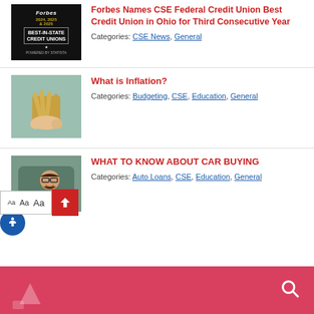[Figure (photo): Forbes Best-in-State Credit Unions award badge on black background]
Forbes Names CSE Federal Credit Union Best Credit Union in Ohio for Third Consecutive Year
Categories: CSE News, General
[Figure (photo): Hands holding a fan of US $100 dollar bills against a mint green background]
What is Inflation?
Categories: Budgeting, CSE, Education, General
[Figure (photo): Excited man with glasses driving a car]
WHAT TO KNOW ABOUT CAR BUYING
Categories: Auto Loans, CSE, Education, General
CSE Federal Credit Union footer with search icon